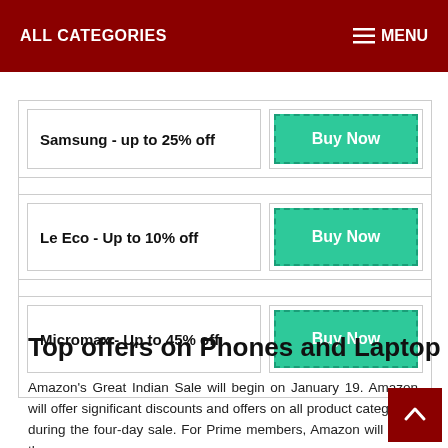ALL CATEGORIES   MENU
Samsung - up to 25% off
Le Eco - Up to 10% off
Micromax - Up to 45% off
Top offers on Phones and Laptop
Amazon's Great Indian Sale will begin on January 19. Amazon will offer significant discounts and offers on all product categories during the four-day sale. For Prime members, Amazon will open the